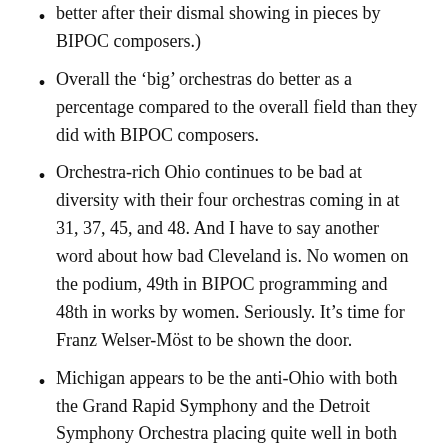better after their dismal showing in pieces by BIPOC composers.)
Overall the ‘big’ orchestras do better as a percentage compared to the overall field than they did with BIPOC composers.
Orchestra-rich Ohio continues to be bad at diversity with their four orchestras coming in at 31, 37, 45, and 48. And I have to say another word about how bad Cleveland is. No women on the podium, 49th in BIPOC programming and 48th in works by women. Seriously. It’s time for Franz Welser-Möst to be shown the door.
Michigan appears to be the anti-Ohio with both the Grand Rapid Symphony and the Detroit Symphony Orchestra placing quite well in both programming works by women and works by BIPOC composers. And Detroit has one of the most exciting bits of